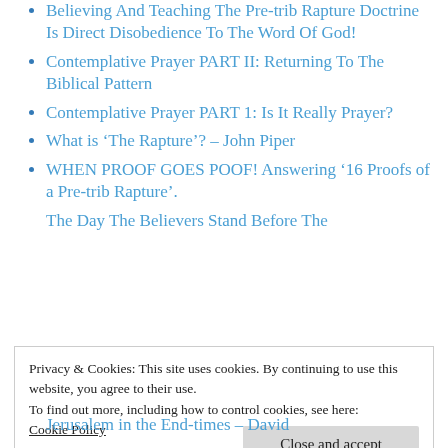Believing And Teaching The Pre-trib Rapture Doctrine Is Direct Disobedience To The Word Of God!
Contemplative Prayer PART II: Returning To The Biblical Pattern
Contemplative Prayer PART 1: Is It Really Prayer?
What is ‘The Rapture’? – John Piper
WHEN PROOF GOES POOF! Answering ‘16 Proofs of a Pre-trib Rapture’.
The Day The Believers Stand Before The
Privacy & Cookies: This site uses cookies. By continuing to use this website, you agree to their use.
To find out more, including how to control cookies, see here: Cookie Policy
Jerusalem in the End-times – David